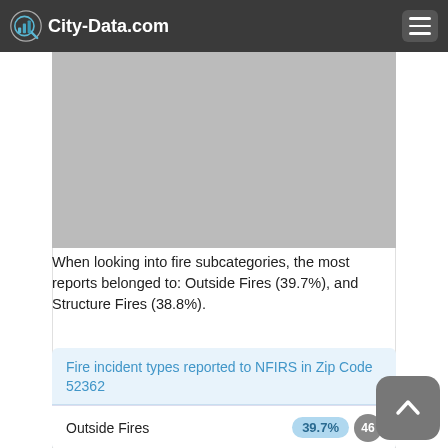City-Data.com
[Figure (other): Gray placeholder image area, content not visible]
When looking into fire subcategories, the most reports belonged to: Outside Fires (39.7%), and Structure Fires (38.8%).
Fire incident types reported to NFIRS in Zip Code 52362
Outside Fires 39.7% 46